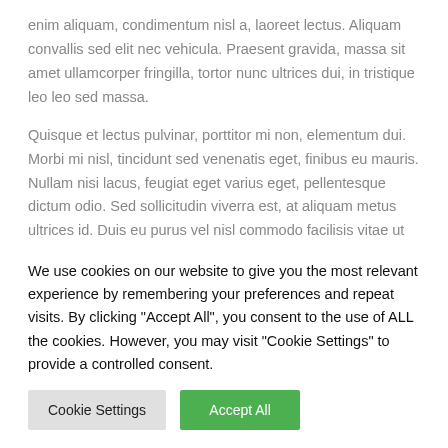enim aliquam, condimentum nisl a, laoreet lectus. Aliquam convallis sed elit nec vehicula. Praesent gravida, massa sit amet ullamcorper fringilla, tortor nunc ultrices dui, in tristique leo leo sed massa.
Quisque et lectus pulvinar, porttitor mi non, elementum dui. Morbi mi nisl, tincidunt sed venenatis eget, finibus eu mauris. Nullam nisi lacus, feugiat eget varius eget, pellentesque dictum odio. Sed sollicitudin viverra est, at aliquam metus ultrices id. Duis eu purus vel nisl commodo facilisis vitae ut lectus.
Sed elementum dapibus tellus, a dictum metus interdum ac.
We use cookies on our website to give you the most relevant experience by remembering your preferences and repeat visits. By clicking "Accept All", you consent to the use of ALL the cookies. However, you may visit "Cookie Settings" to provide a controlled consent.